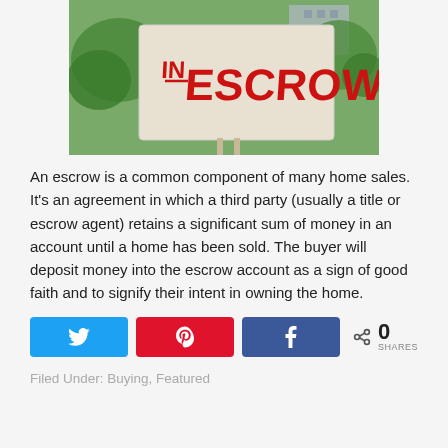[Figure (photo): Photo of a real estate sign reading 'IN ESCROW' in large red letters on a white board, with green trees and building visible in background.]
An escrow is a common component of many home sales. It's an agreement in which a third party (usually a title or escrow agent) retains a significant sum of money in an account until a home has been sold. The buyer will deposit money into the escrow account as a sign of good faith and to signify their intent in owning the home.
[Figure (infographic): Social share bar with Twitter (blue), Pinterest (red), and Facebook (blue) buttons, followed by a share icon and count showing 0 SHARES.]
Filed Under: Buying, Featured